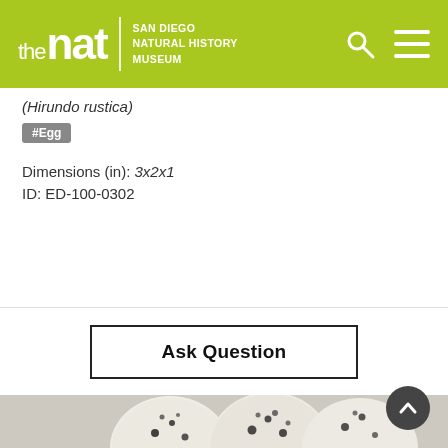the nat | SAN DIEGO NATURAL HISTORY MUSEUM
(Hirundo rustica)
#Egg
Dimensions (in): 3x2x1
ID: ED-100-0302
Ask Question
[Figure (photo): Three small white speckled bird eggs (Hirundo rustica / Barn Swallow) with black spots, photographed on a light grey/beige background]